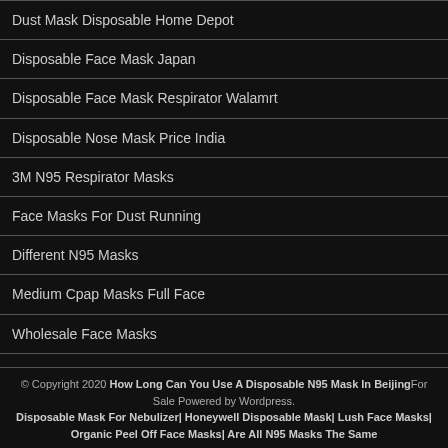Dust Mask Disposable Home Depot
Disposable Face Mask Japan
Disposable Face Mask Respirator Walamrt
Disposable Nose Mask Price India
3M N95 Respirator Masks
Face Masks For Dust Running
Different N95 Masks
Medium Cpap Masks Full Face
Wholesale Face Masks
© Copyright 2020 How Long Can You Use A Disposable N95 Mask In BeijingFor Sale Powered by Wordpress. Disposable Mask For Nebulizer| Honeywell Disposable Mask| Lush Face Masks| Organic Peel Off Face Masks| Are All N95 Masks The Same